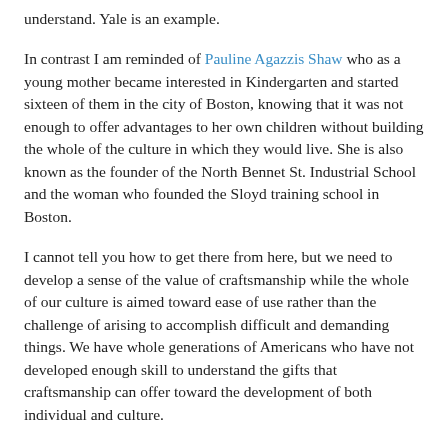understand. Yale is an example.
In contrast I am reminded of Pauline Agazzis Shaw who as a young mother became interested in Kindergarten and started sixteen of them in the city of Boston, knowing that it was not enough to offer advantages to her own children without building the whole of the culture in which they would live. She is also known as the founder of the North Bennet St. Industrial School and the woman who founded the Sloyd training school in Boston.
I cannot tell you how to get there from here, but we need to develop a sense of the value of craftsmanship while the whole of our culture is aimed toward ease of use rather than the challenge of arising to accomplish difficult and demanding things. We have whole generations of Americans who have not developed enough skill to understand the gifts that craftsmanship can offer toward the development of both individual and culture.
A society of craftsmen would know that challenging our children to arise to their best would build whole communities